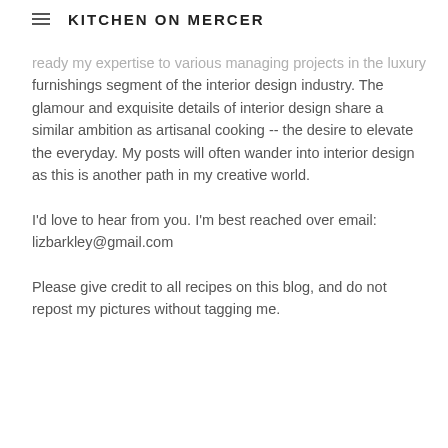KITCHEN ON MERCER
ready my expertise to various managing projects in the luxury furnishings segment of the interior design industry. The glamour and exquisite details of interior design share a similar ambition as artisanal cooking -- the desire to elevate the everyday. My posts will often wander into interior design as this is another path in my creative world.
I'd love to hear from you. I'm best reached over email: lizbarkley@gmail.com
Please give credit to all recipes on this blog, and do not repost my pictures without tagging me.